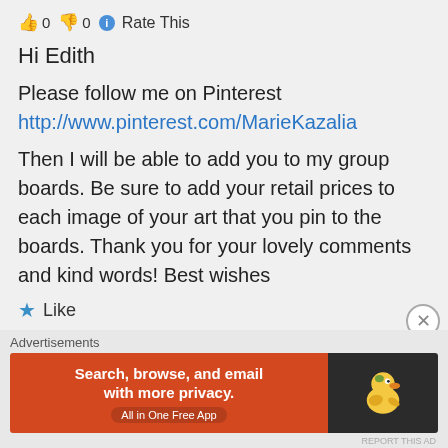👍 0 👎 0 ℹ Rate This
Hi Edith
Please follow me on Pinterest
http://www.pinterest.com/MarieKazalia
Then I will be able to add you to my group boards. Be sure to add your retail prices to each image of your art that you pin to the boards. Thank you for your lovely comments and kind words! Best wishes
★ Like
Advertisements
[Figure (screenshot): DuckDuckGo advertisement banner: orange section with text 'Search, browse, and email with more privacy. All in One Free App' and dark section with DuckDuckGo duck logo]